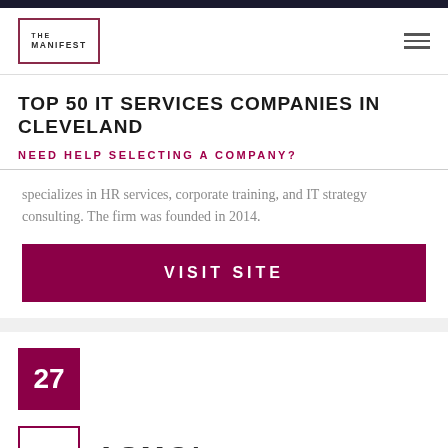THE MANIFEST
TOP 50 IT SERVICES COMPANIES IN CLEVELAND
NEED HELP SELECTING A COMPANY?
specializes in HR services, corporate training, and IT strategy consulting. The firm was founded in 2014.
VISIT SITE
27
ASMGI